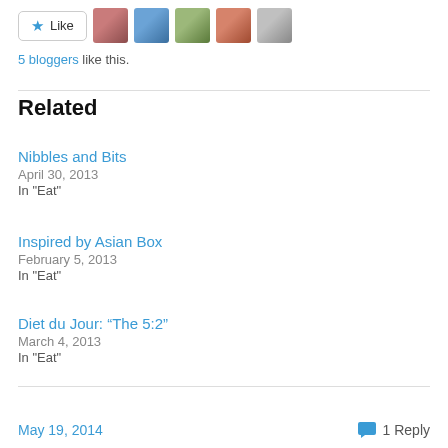[Figure (other): Like button with star icon and 5 blogger avatar thumbnails]
5 bloggers like this.
Related
Nibbles and Bits
April 30, 2013
In "Eat"
Inspired by Asian Box
February 5, 2013
In "Eat"
Diet du Jour: “The 5:2”
March 4, 2013
In "Eat"
May 19, 2014    1 Reply